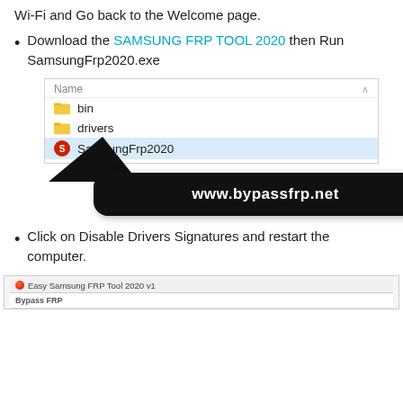Wi-Fi and Go back to the Welcome page.
Download the SAMSUNG FRP TOOL 2020 then Run SamsungFrp2020.exe
[Figure (screenshot): Windows file explorer showing Name column with folders: bin, drivers, and selected file SamsungFrp2020, with a black rounded pill watermark showing www.bypassfrp.net and a dark arrow pointing to the file.]
Click on Disable Drivers Signatures and restart the computer.
[Figure (screenshot): Bottom screenshot showing Easy Samsung FRP Tool 2020 v1 application window with Bypass FRP button area visible.]